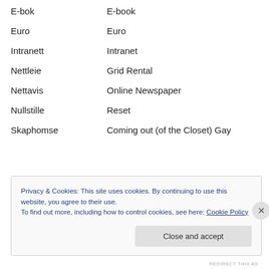E-bok	E-book
Euro	Euro
Intranett	Intranet
Nettleie	Grid Rental
Nettavis	Online Newspaper
Nullstille	Reset
Skaphomse	Coming out (of the Closet) Gay
Privacy & Cookies: This site uses cookies. By continuing to use this website, you agree to their use.
To find out more, including how to control cookies, see here: Cookie Policy
REDIRECT THIS AS